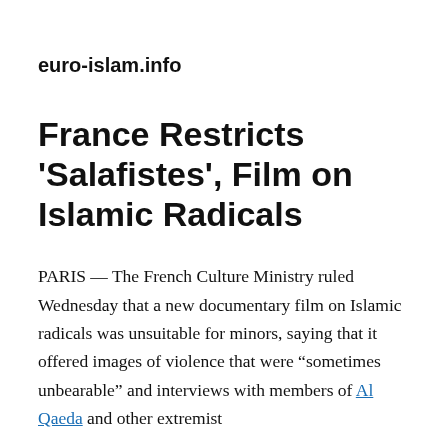euro-islam.info
France Restricts 'Salafistes', Film on Islamic Radicals
PARIS — The French Culture Ministry ruled Wednesday that a new documentary film on Islamic radicals was unsuitable for minors, saying that it offered images of violence that were “sometimes unbearable” and interviews with members of Al Qaeda and other extremist